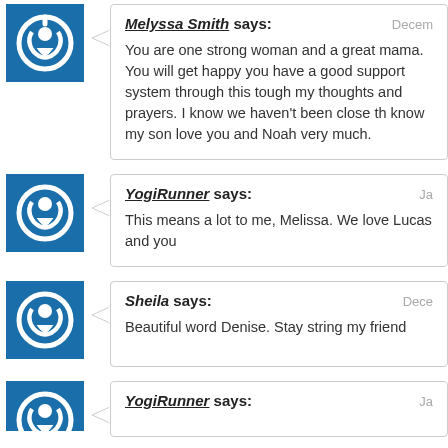Melyssa Smith says: You are one strong woman and a great mama. You will get happy you have a good support system through this tough my thoughts and prayers. I know we haven't been close th know my son love you and Noah very much.
YogiRunner says: This means a lot to me, Melissa. We love Lucas and you
Sheila says: Beautiful word Denise. Stay string my friend
YogiRunner says: